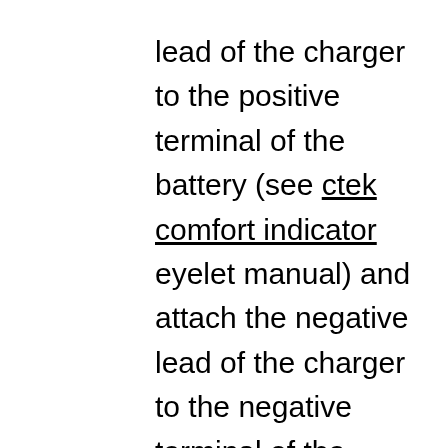lead of the charger to the positive terminal of the battery (see ctek comfort indicator eyelet manual) and attach the negative lead of the charger to the negative terminal of the battery.

Does trickle charging reduce battery life? The reason behind going for a trickle charge is to improve the battery life and